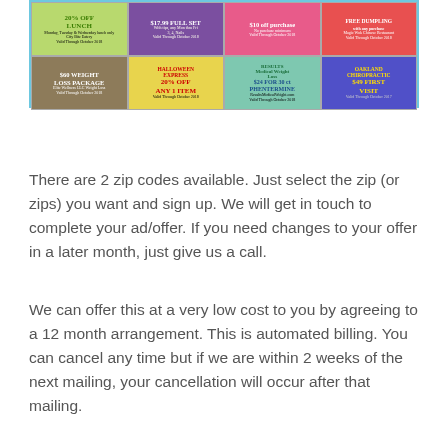[Figure (other): A grid of colorful coupon/advertisement tiles showing various business offers including weight loss package, Halloween Express discount, phentermine offer, Oakland Chiropractic, dumpling offer, and other local business coupons.]
There are 2 zip codes available. Just select the zip (or zips) you want and sign up. We will get in touch to complete your ad/offer. If you need changes to your offer in a later month, just give us a call.
We can offer this at a very low cost to you by agreeing to a 12 month arrangement. This is automated billing. You can cancel any time but if we are within 2 weeks of the next mailing, your cancellation will occur after that mailing.